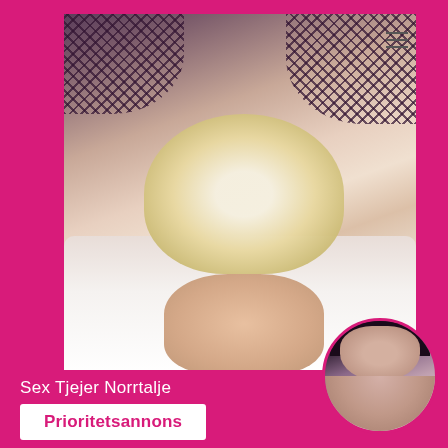[Figure (photo): Main photo showing a blonde person lying on white bed sheets, wearing fishnet stockings, viewed from above. Pink border surrounds the image area.]
Sex Tjejer Norrtalje
Prioritetsannons
[Figure (photo): Small circular thumbnail photo of a dark-haired woman in the bottom right corner.]